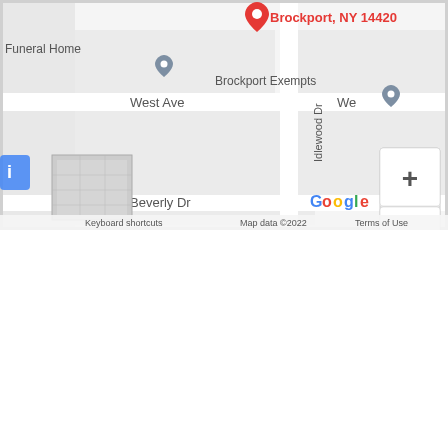[Figure (map): Google Maps screenshot showing Brockport, NY 14420 area. Visible labels include Funeral Home, Brockport Exempts, West Ave, Idlewood Dr, Beverly Dr, and Google branding with zoom controls (+/-). Map data ©2022. Keyboard shortcuts and Terms of Use links visible at bottom.]